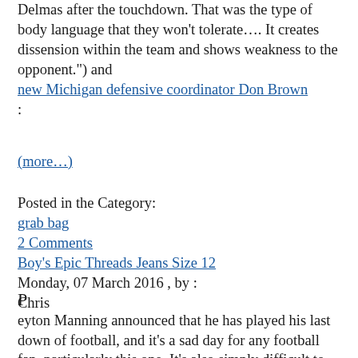Delmas after the touchdown. That was the type of body language that they won't tolerate…. It creates dissension within the team and shows weakness to the opponent.") and new Michigan defensive coordinator Don Brown :
(more…)
Posted in the Category:
grab bag
2 Comments
Boy's Epic Threads Jeans Size 12
Monday, 07 March 2016 , by :
Chris
P eyton Manning announced that he has played his last down of football, and it's a sad day for any football fan, particularly this one. It's also simply difficult to fathom a football season that doesn't include him: His NFL career spanned an incredible eighteen seasons, which, when combined with his four seasons as a starter at Tennessee, means he's been the starting QB of a major college or NFL team for the last twenty two years; it's been a very long time since we've had football without Peyton Manning's exploits to marvel at. (And, albeit in the pre-internet/recruiting services age, Manning was as high profile of a recruit out of high